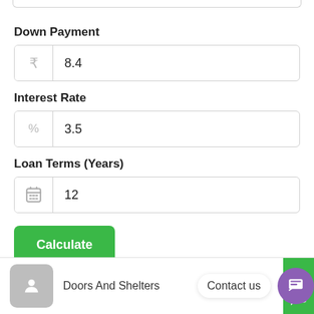Down Payment
₹  8.4
Interest Rate
%  3.5
Loan Terms (Years)
12
Calculate
Doors And Shelters  Contact us